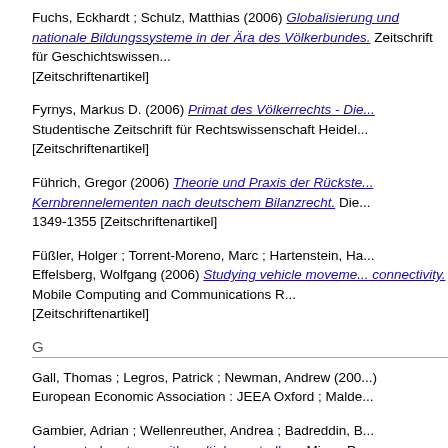Fuchs, Eckhardt ; Schulz, Matthias (2006) Globalisierung und nationale Bildungssysteme in der Ära des Völkerbundes. Zeitschrift für Geschichtswissenschaft [Zeitschriftenartikel]
Fyrnys, Markus D. (2006) Primat des Völkerrechts - Die... Studentische Zeitschrift für Rechtswissenschaft Heidel... [Zeitschriftenartikel]
Führich, Gregor (2006) Theorie und Praxis der Rückstellungsbildung für Kernbrennelementen nach deutschem Bilanzrecht. Die... 1349-1355 [Zeitschriftenartikel]
Füßler, Holger ; Torrent-Moreno, Marc ; Hartenstein, Ha... Effelsberg, Wolfgang (2006) Studying vehicle movements... connectivity. Mobile Computing and Communications R... [Zeitschriftenartikel]
G
Gall, Thomas ; Legros, Patrick ; Newman, Andrew (200...) European Economic Association : JEEA Oxford ; Malde...
Gambier, Adrian ; Wellenreuther, Andrea ; Badreddin, B... loop control systems with multiple controllers. Misra, Pr... Control, San Diego, Calif., Dec. 13.-15, 2006; proceedi... Decision and Control proceedings : December 13 - 15, ... [Bioscotow NJ] [Konferenzveröffentlichung]